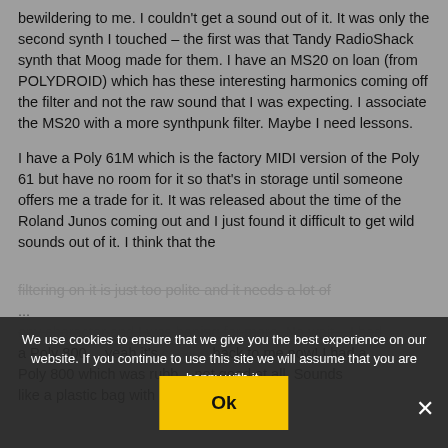bewildering to me. I couldn't get a sound out of it. It was only the second synth I touched – the first was that Tandy RadioShack synth that Moog made for them. I have an MS20 on loan (from POLYDROID) which has these interesting harmonics coming off the filter and not the raw sound that I was expecting. I associate the MS20 with a more synthpunk filter. Maybe I need lessons.
I have a Poly 61M which is the factory MIDI version of the Poly 61 but have no room for it so that's in storage until someone offers me a trade for it. It was released about the time of the Roland Junos coming out and I just found it difficult to get wild sounds out of it. I think that the filtering on it is just too polite and it needs a lot of ... any character and I was hoping for more. No wait... I had a Poly 800… yeah it's coming back to me now! I had a Poly 800 which was rubb... not good at all. Sounds like a plastic bag with be...
We use cookies to ensure that we give you the best experience on our website. If you continue to use this site we will assume that you are happy with it.